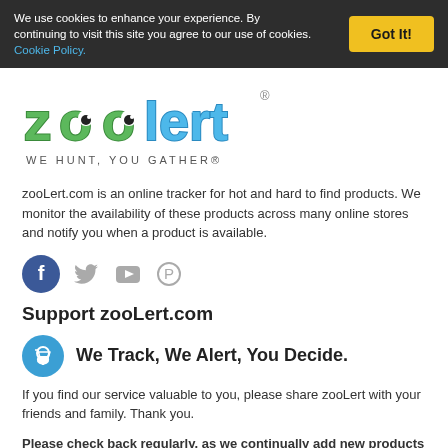We use cookies to enhance your experience. By continuing to visit this site you agree to our use of cookies. Cookie Policy.
[Figure (logo): ZooLert logo with colorful green and blue bubble letters and tagline WE HUNT, YOU GATHER]
zooLert.com is an online tracker for hot and hard to find products. We monitor the availability of these products across many online stores and notify you when a product is available.
[Figure (other): Social media icons: Facebook (blue circle with f), Twitter bird, YouTube, Pinterest]
Support zooLert.com
We Track, We Alert, You Decide.
If you find our service valuable to you, please share zooLert with your friends and family. Thank you.
Please check back regularly, as we continually add new products to our